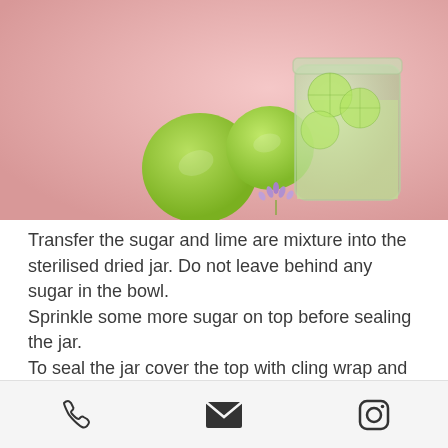[Figure (photo): Photo of a glass mason jar filled with lime slices and liquid on a pink background, with whole limes and small purple flowers beside it]
Transfer the sugar and lime are mixture into the sterilised dried jar. Do not leave behind any sugar in the bowl. Sprinkle some more sugar on top before sealing the jar. To seal the jar cover the top with cling wrap and place the lid on. Put your limeade in the refrigerator for
Phone | Email | Instagram icons